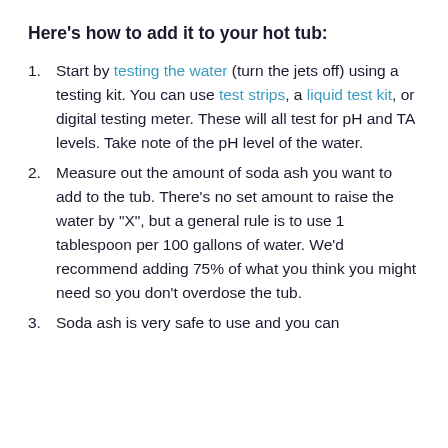Here's how to add it to your hot tub:
Start by testing the water (turn the jets off) using a testing kit. You can use test strips, a liquid test kit, or digital testing meter. These will all test for pH and TA levels. Take note of the pH level of the water.
Measure out the amount of soda ash you want to add to the tub. There's no set amount to raise the water by "X", but a general rule is to use 1 tablespoon per 100 gallons of water. We'd recommend adding 75% of what you think you might need so you don't overdose the tub.
Soda ash is very safe to use and you can